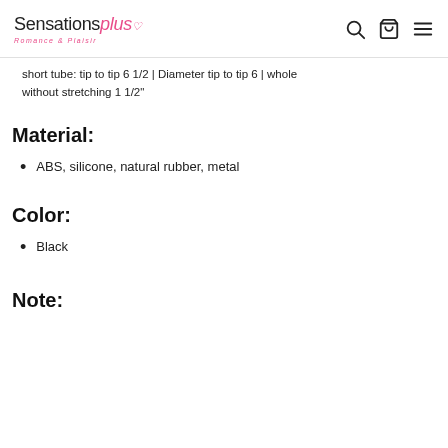Sensationsplus Romance & Plaisir
short tube: tip to tip 6 1/2 | Diameter tip to tip 6 | whole without stretching 1 1/2"
Material:
ABS, silicone, natural rubber, metal
Color:
Black
Note: